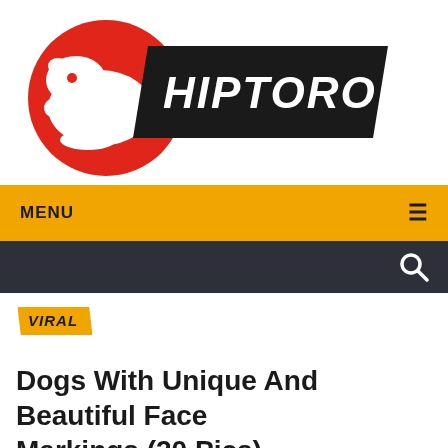[Figure (logo): Hiptoro logo: red circle with white hippo silhouette, black banner with white bold italic text HIPTORO]
MENU ≡
Search icon
VIRAL
Dogs With Unique And Beautiful Face Markings (20 Pics)